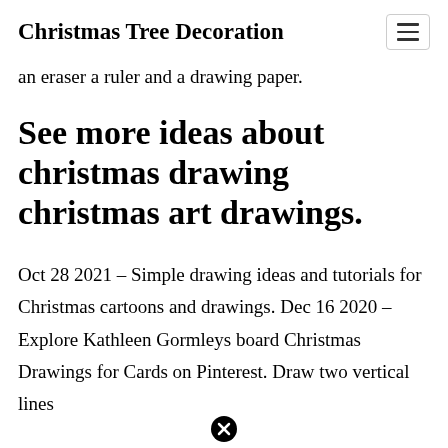Christmas Tree Decoration
an eraser a ruler and a drawing paper.
See more ideas about christmas drawing christmas art drawings.
Oct 28 2021 - Simple drawing ideas and tutorials for Christmas cartoons and drawings. Dec 16 2020 - Explore Kathleen Gormleys board Christmas Drawings for Cards on Pinterest. Draw two vertical lines